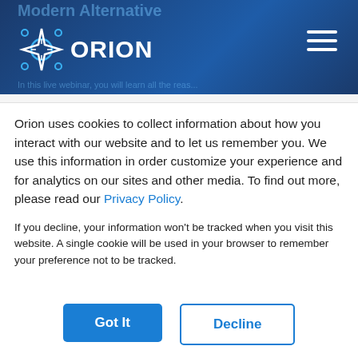Orion Labs logo and navigation header
Reasons Radios Hold Security Teams & The Modern Alternative," Orion Labs CEO Greg Taylor and Co-Founder and CTO Greg Albrecht will share why radios and multiple devices just don't cut it for today's physical
Orion uses cookies to collect information about how you interact with our website and to let us remember you. We use this information in order customize your experience and for analytics on our sites and other media. To find out more, please read our Privacy Policy.
If you decline, your information won't be tracked when you visit this website. A single cookie will be used in your browser to remember your preference not to be tracked.
Got It | Decline